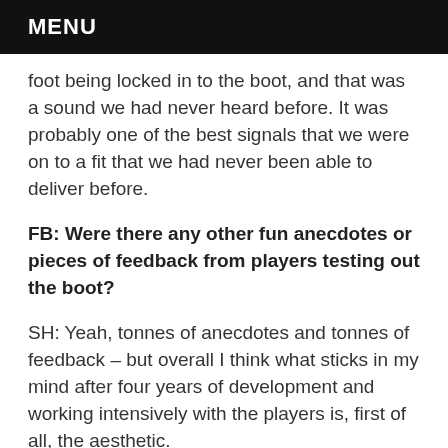MENU
foot being locked in to the boot, and that was a sound we had never heard before. It was probably one of the best signals that we were on to a fit that we had never been able to deliver before.
FB: Were there any other fun anecdotes or pieces of feedback from players testing out the boot?
SH: Yeah, tonnes of anecdotes and tonnes of feedback – but overall I think what sticks in my mind after four years of development and working intensively with the players is, first of all, the aesthetic.